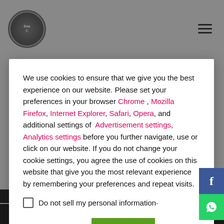[Figure (logo): Circular logo in website header]
We use cookies to ensure that we give you the best experience on our website. Please set your preferences in your browser Chrome , Mozilla Firefox, Internet Explorer, Safari, Opera, and additional settings of Advertisement settings, Analytics settings before you further navigate, use or click on our website. If you do not change your cookie settings, you agree the use of cookies on this website that give you the most relevant experience by remembering your preferences and repeat visits.
Do not sell my personal information·
Cookie settings   ACCEPT
COVID19 SAFETY   MAGYAR
Hestia | Developed by ThemeIsle